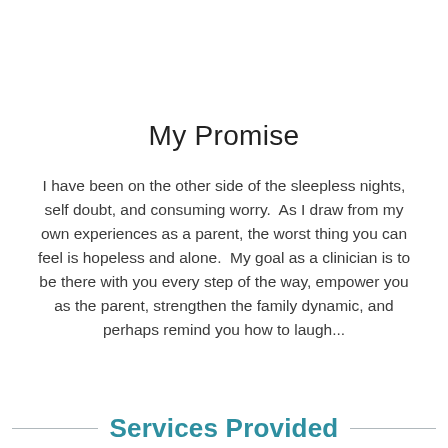My Promise
I have been on the other side of the sleepless nights, self doubt, and consuming worry.  As I draw from my own experiences as a parent, the worst thing you can feel is hopeless and alone.  My goal as a clinician is to be there with you every step of the way, empower you as the parent, strengthen the family dynamic, and perhaps remind you how to laugh...
Services Provided